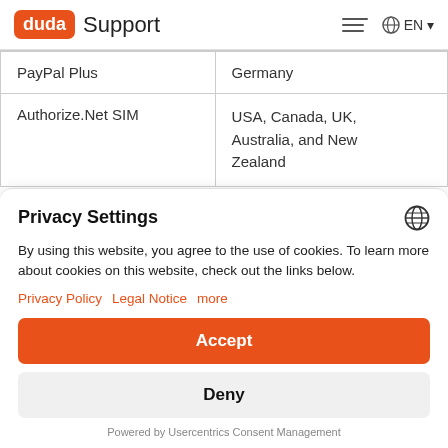duda Support | EN
| PayPal Plus | Germany |
| Authorize.Net SIM | USA, Canada, UK, Australia, and New Zealand |
Privacy Settings
By using this website, you agree to the use of cookies. To learn more about cookies on this website, check out the links below.
Privacy Policy   Legal Notice   more
Accept
Deny
Powered by Usercentrics Consent Management